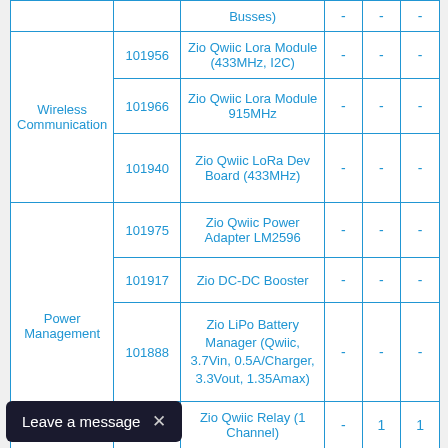| Category | SKU | Product | Col1 | Col2 | Col3 |
| --- | --- | --- | --- | --- | --- |
|  |  | Busses) | - | - | - |
| Wireless Communication | 101956 | Zio Qwiic Lora Module (433MHz, I2C) | - | - | - |
|  | 101966 | Zio Qwiic Lora Module 915MHz | - | - | - |
|  | 101940 | Zio Qwiic LoRa Dev Board (433MHz) | - | - | - |
| Power Management | 101975 | Zio Qwiic Power Adapter LM2596 | - | - | - |
|  | 101917 | Zio DC-DC Booster | - | - | - |
|  | 101888 | Zio LiPo Battery Manager (Qwiic, 3.7Vin, 0.5A/Charger, 3.3Vout, 1.35Amax) | - | - | - |
|  | ...939 | Zio Qwiic Relay (1 Channel) | - | 1 | 1 |
Leave a message ×